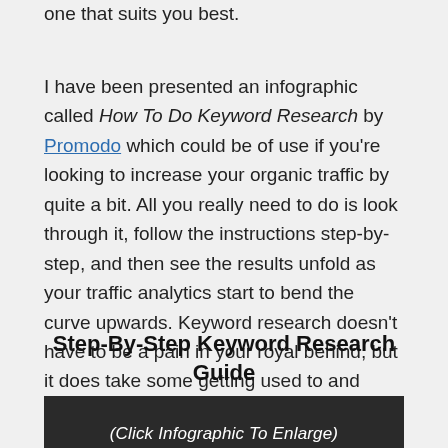one that suits you best.
I have been presented an infographic called How To Do Keyword Research by Promodo which could be of use if you’re looking to increase your organic traffic by quite a bit. All you really need to do is look through it, follow the instructions step-by-step, and then see the results unfold as your traffic analytics start to bend the curve upwards. Keyword research doesn’t have to be a pain in your royal behind, but it does take some getting used to and patience.
Step-By-Step Keyword Research Guide
[Figure (infographic): Dark banner with partial text visible at bottom, part of an infographic about keyword research]